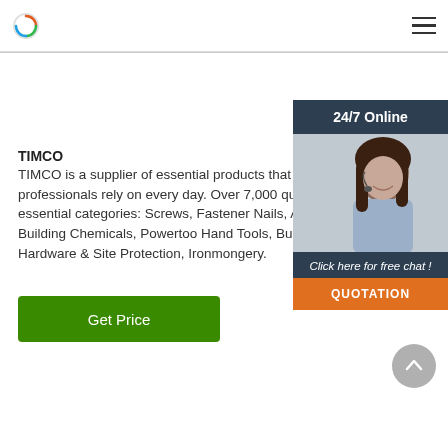TIMCO
TIMCO
TIMCO is a supplier of essential products that tr professionals rely on every day. Over 7,000 qual across all essential categories: Screws, Fastener Nails, Adhesives & Building Chemicals, Powertoo Hand Tools, Building Hardware & Site Protection, Ironmongery.
[Figure (infographic): 24/7 Online chat widget with a photo of a woman wearing a headset, text 'Click here for free chat !' and an orange QUOTATION button]
[Figure (other): Green Get Price button]
[Figure (other): Grey scroll-to-top circular arrow button]